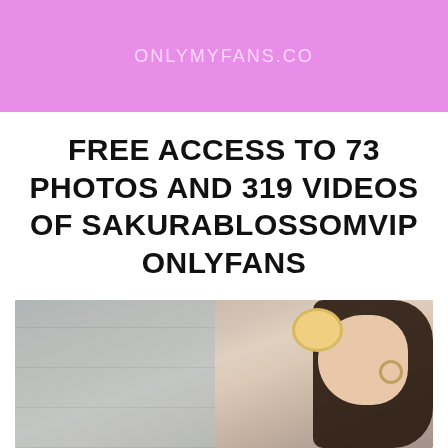ONLYMYFANS.CO
FREE ACCESS TO 73 PHOTOS AND 319 VIDEOS OF SAKURABLOSSOMVIP ONLYFANS
[Figure (photo): A woman with dark hair eating or holding a macaron, wearing hoop earrings, with a tiled background.]